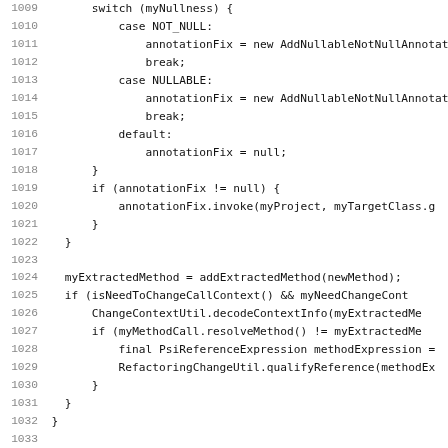Code listing lines 1009-1041, Java source code showing switch statement, method calls, and method definitions including addExtractedMethod and prepareMethodBody